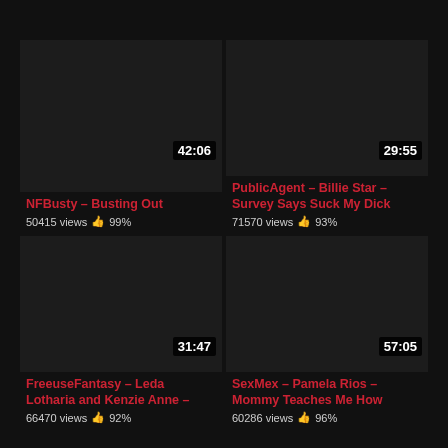[Figure (screenshot): Video thumbnail card 1: NFBusty – Busting Out, duration 42:06, 50415 views, 99% rating]
[Figure (screenshot): Video thumbnail card 2: PublicAgent – Billie Star – Survey Says Suck My Dick, duration 29:55, 71570 views, 93% rating]
[Figure (screenshot): Video thumbnail card 3: FreeuseFantasy – Leda Lotharia and Kenzie Anne –, duration 31:47, 66470 views, 92% rating]
[Figure (screenshot): Video thumbnail card 4: SexMex – Pamela Rios – Mommy Teaches Me How, duration 57:05, 60286 views, 96% rating]